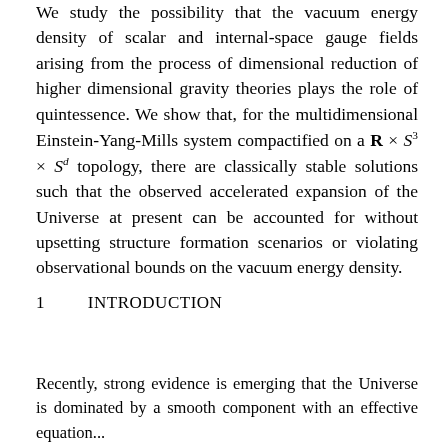We study the possibility that the vacuum energy density of scalar and internal-space gauge fields arising from the process of dimensional reduction of higher dimensional gravity theories plays the role of quintessence. We show that, for the multidimensional Einstein-Yang-Mills system compactified on a R × S³ × S^d topology, there are classically stable solutions such that the observed accelerated expansion of the Universe at present can be accounted for without upsetting structure formation scenarios or violating observational bounds on the vacuum energy density.
1    INTRODUCTION
Recently, strong evidence is emerging that the Universe is dominated by a smooth component with an effective equation...